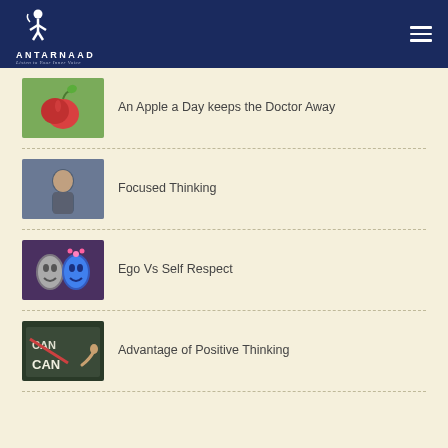ANTARNAAD — Listen to Your Inner Voice
An Apple a Day keeps the Doctor Away
Focused Thinking
Ego Vs Self Respect
Advantage of Positive Thinking